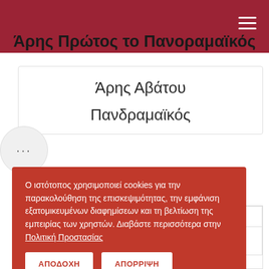Άρης Πρώτος το Πανοραμαϊκός
Άρης Αβάτου
Πανδραμαϊκός
| Σεζόν |
| --- |
| 2019-2020 |
Ο ιστότοπος χρησιμοποιεί cookies για την παρακολούθηση της επισκεψιμότητας, την εμφάνιση εξατομικευμένων διαφημίσεων και τη βελτίωση της εμπειρίας των χρηστών. Διαβάστε περισσότερα στην Πολιτική Προστασίας
ΑΠΟΔΟΧΗ
ΑΠΟΡΡΙΨΗ